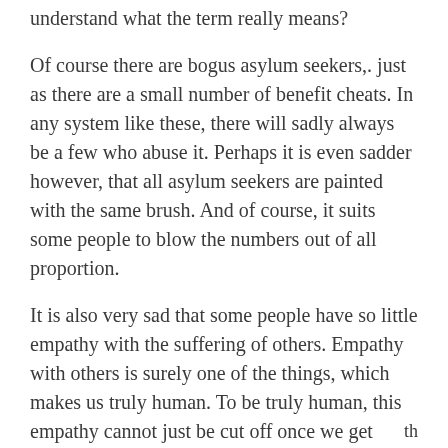understand what the term really means?
Of course there are bogus asylum seekers,. just as there are a small number of benefit cheats. In any system like these, there will sadly always be a few who abuse it. Perhaps it is even sadder however, that all asylum seekers are painted with the same brush. And of course, it suits some people to blow the numbers out of all proportion.
It is also very sad that some people have so little empathy with the suffering of others. Empathy with others is surely one of the things, which makes us truly human. To be truly human, this empathy cannot just be cut off once we get outside the borders of what we might see as ‘our tribe’. It must extend to all humanity and this of course, includes asylum seekers.
th